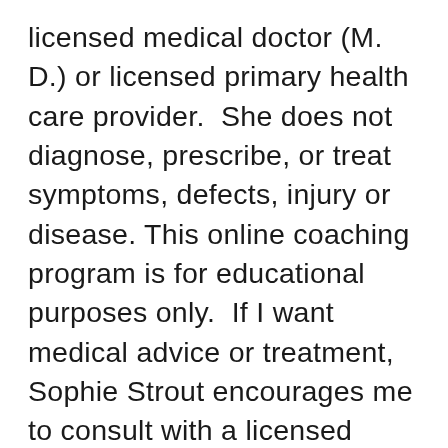licensed medical doctor (M. D.) or licensed primary health care provider.  She does not diagnose, prescribe, or treat symptoms, defects, injury or disease. This online coaching program is for educational purposes only.  If I want medical advice or treatment, Sophie Strout encourages me to consult with a licensed primary health care provider.  I consult with Sophie Strout in her capacity as a certified health and wellness coach who conveys self-help information that people can use to increase their own health and well-being.  I affirm my right to self-health and take full responsibility for